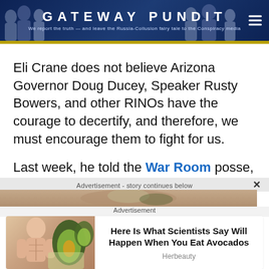GATEWAY PUNDIT — We report the truth — and leave the Russia-Collusion fairy tale to the Conspiracy media
Eli Crane does not believe Arizona Governor Doug Ducey, Speaker Rusty Bowers, and other RINOs have the courage to decertify, and therefore, we must encourage them to fight for us.
Last week, he told the War Room posse,
Advertisement - story continues below
Advertisement
Here Is What Scientists Say Will Happen When You Eat Avocados
Herbeauty